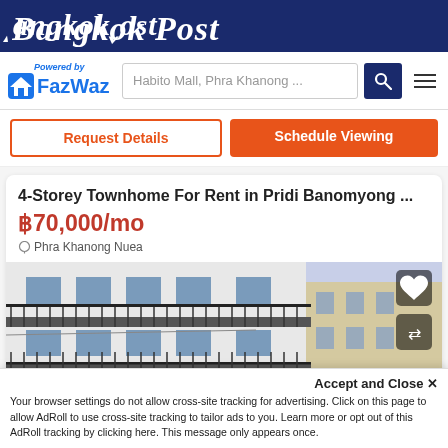Bangkok Post
[Figure (screenshot): FazWaz logo with house icon and 'Powered by' text, search bar showing 'Habito Mall, Phra Khanong ...', search button, and hamburger menu]
Request Details | Schedule Viewing
4-Storey Townhome For Rent in Pridi Banomyong ...
฿70,000/mo
Phra Khanong Nuea
[Figure (photo): 4-storey townhome exterior showing white building facade with black iron balcony railings and windows]
Accept and Close ✕
Your browser settings do not allow cross-site tracking for advertising. Click on this page to allow AdRoll to use cross-site tracking to tailor ads to you. Learn more or opt out of this AdRoll tracking by clicking here. This message only appears once.